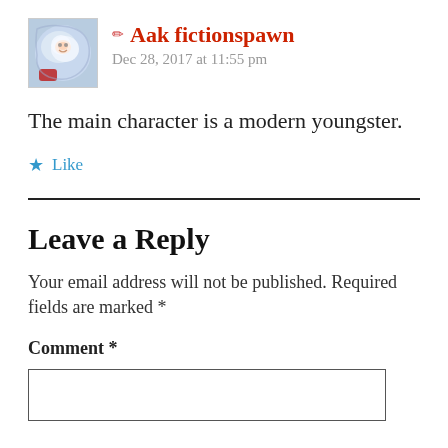[Figure (illustration): User avatar thumbnail — abstract illustrated character with blue/white tones and red accent at bottom left]
✏ Aak fictionspawn
Dec 28, 2017 at 11:55 pm
The main character is a modern youngster.
★ Like
Leave a Reply
Your email address will not be published. Required fields are marked *
Comment *